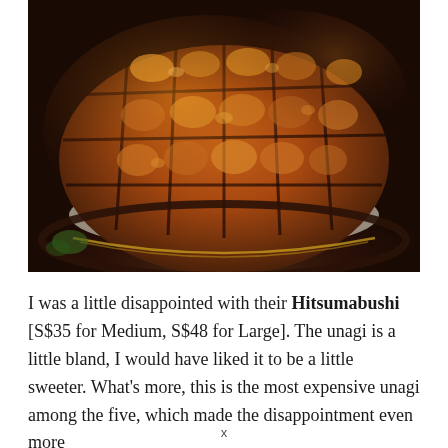[Figure (photo): Close-up photo of Hitsumabushi (grilled unagi eel) served in a dark cast iron bowl on rice, cut into pieces with caramelized, golden-brown glazed surface]
I was a little disappointed with their Hitsumabushi [S$35 for Medium, S$48 for Large]. The unagi is a little bland, I would have liked it to be a little  sweeter. What's more, this is the most expensive unagi among the five, which made the disappointment even more
x